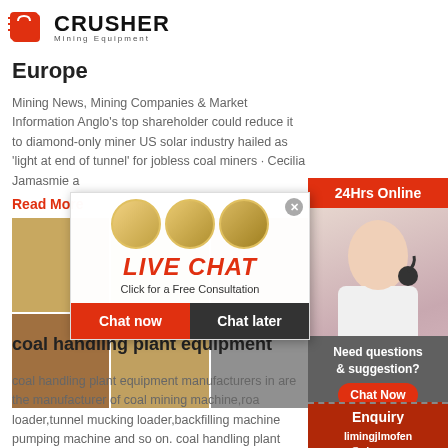[Figure (logo): Crusher Mining Equipment logo with red shopping bag icon and bold CRUSHER text]
Europe
Mining News, Mining Companies & Market Information Anglo's top shareholder could reduce it to diamond-only miner US solar industry hailed as 'light at end of tunnel' for jobless coal miners · Cecilia Jamasmie a
Read More
[Figure (photo): Grid of mining equipment and landscape photos]
[Figure (infographic): Live Chat popup overlay with workers in hard hats, LIVE CHAT title, Click for a Free Consultation, Chat now and Chat later buttons]
[Figure (photo): 24Hrs Online sidebar banner with support agent wearing headset]
coal handling plant equipment
coal handling plant equipment manufacturers in are the manufacturer of coal mining machine,roa loader,tunnel mucking loader,backfilling machine pumping machine and so on. coal handling plant
Need questions & suggestion?
Chat Now
Enquiry
limingjlmofen@sina.com